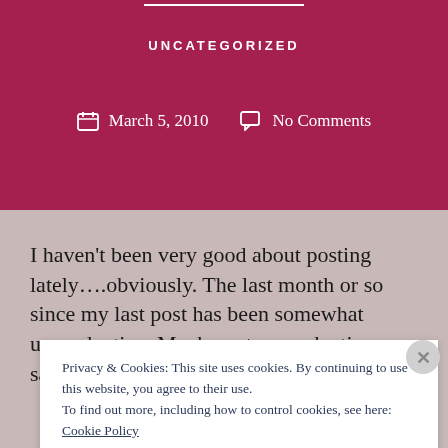UNCATEGORIZED
March 5, 2010   No Comments
I haven't been very good about posting lately….obviously. The last month or so since my last post has been somewhat unproductive. Maybe not unproductive, per say, but I'm
Privacy & Cookies: This site uses cookies. By continuing to use this website, you agree to their use.
To find out more, including how to control cookies, see here: Cookie Policy
CLOSE AND ACCEPT